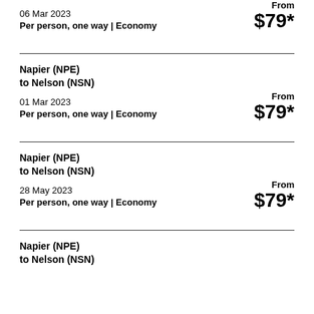06 Mar 2023
Per person, one way | Economy
From $79*
Napier (NPE)
to Nelson (NSN)
01 Mar 2023
Per person, one way | Economy
From $79*
Napier (NPE)
to Nelson (NSN)
28 May 2023
Per person, one way | Economy
From $79*
Napier (NPE)
to Nelson (NSN)